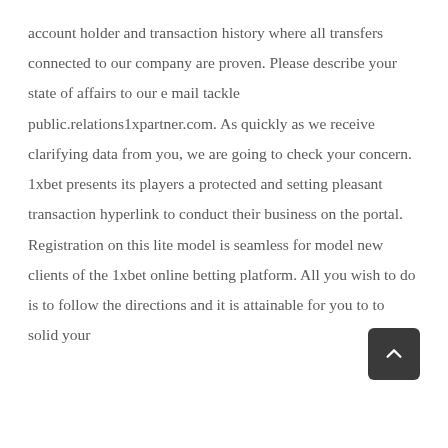account holder and transaction history where all transfers connected to our company are proven. Please describe your state of affairs to our e mail tackle public.relations1xpartner.com. As quickly as we receive clarifying data from you, we are going to check your concern.

1xbet presents its players a protected and setting pleasant transaction hyperlink to conduct their business on the portal. Registration on this lite model is seamless for model new clients of the 1xbet online betting platform. All you wish to do is to follow the directions and it is attainable for you to to solid your